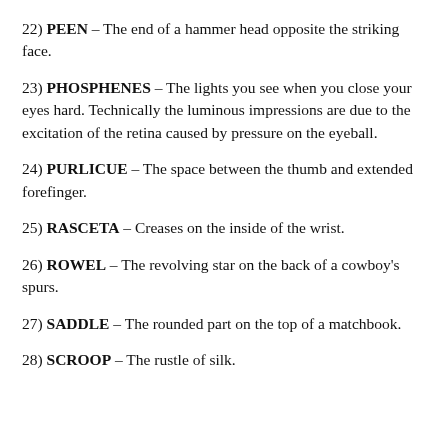22) PEEN – The end of a hammer head opposite the striking face.
23) PHOSPHENES – The lights you see when you close your eyes hard. Technically the luminous impressions are due to the excitation of the retina caused by pressure on the eyeball.
24) PURLICUE – The space between the thumb and extended forefinger.
25) RASCETA – Creases on the inside of the wrist.
26) ROWEL – The revolving star on the back of a cowboy's spurs.
27) SADDLE – The rounded part on the top of a matchbook.
28) SCROOP – The rustle of silk.